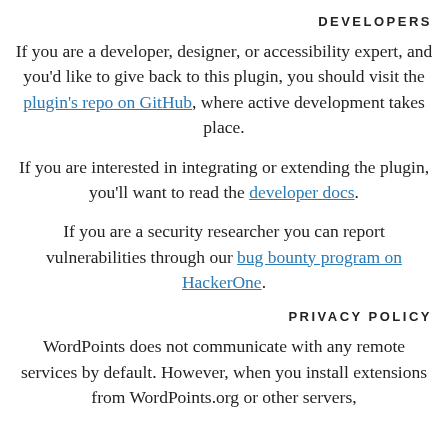DEVELOPERS
If you are a developer, designer, or accessibility expert, and you'd like to give back to this plugin, you should visit the plugin's repo on GitHub, where active development takes place.
If you are interested in integrating or extending the plugin, you'll want to read the developer docs.
If you are a security researcher you can report vulnerabilities through our bug bounty program on HackerOne.
PRIVACY POLICY
WordPoints does not communicate with any remote services by default. However, when you install extensions from WordPoints.org or other servers, WordPoints communicates with those services.